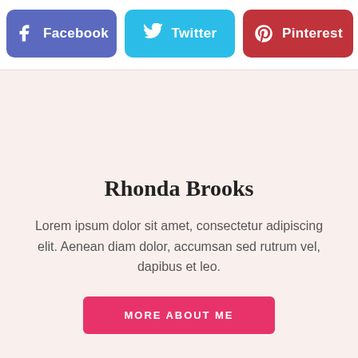[Figure (infographic): Social media share buttons row: Facebook (purple-blue), Twitter (cyan), Pinterest (red), LinkedIn (blue, partially cropped)]
Rhonda Brooks
Lorem ipsum dolor sit amet, consectetur adipiscing elit. Aenean diam dolor, accumsan sed rutrum vel, dapibus et leo.
MORE ABOUT ME